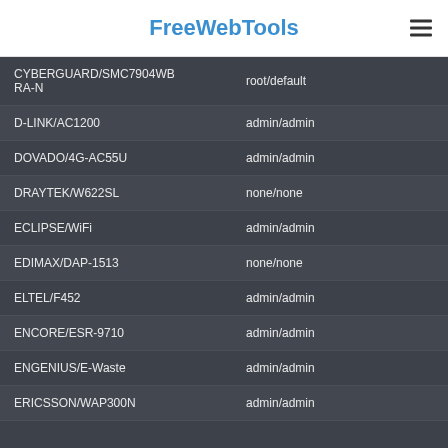FreeWebTools
| Device | Credentials |
| --- | --- |
| CYBERGUARD/SMC7904WBRA-N | root/default |
| D-LINK/AC1200 | admin/admin |
| DOVADO/4G-AC55U | admin/admin |
| DRAYTEK/W622SL | none/none |
| ECLIPSE/WiFi | admin/admin |
| EDIMAX/DAP-1513 | none/none |
| ELTEL/F452 | admin/admin |
| ENCORE/ESR-9710 | admin/admin |
| ENGENIUS/E-Waste | admin/admin |
| ERICSSON/WAP300N | admin/admin |